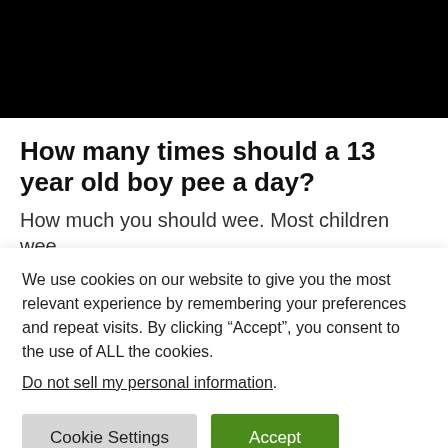[Figure (photo): Black banner/header image area at top of page]
How many times should a 13 year old boy pee a day?
How much you should wee. Most children wee
We use cookies on our website to give you the most relevant experience by remembering your preferences and repeat visits. By clicking “Accept”, you consent to the use of ALL the cookies.
Do not sell my personal information.
Cookie Settings
Accept